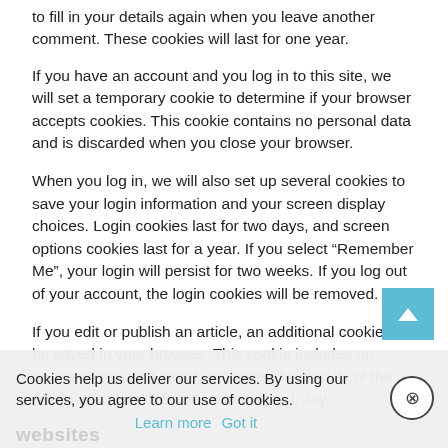to fill in your details again when you leave another comment. These cookies will last for one year.
If you have an account and you log in to this site, we will set a temporary cookie to determine if your browser accepts cookies. This cookie contains no personal data and is discarded when you close your browser.
When you log in, we will also set up several cookies to save your login information and your screen display choices. Login cookies last for two days, and screen options cookies last for a year. If you select “Remember Me”, your login will persist for two weeks. If you log out of your account, the login cookies will be removed.
If you edit or publish an article, an additional cookie will be saved in your browser. This cookie includes no personal data and simply indicates the post ID of the article you just edited. It expires after 1 day.
Cookies help us deliver our services. By using our services, you agree to our use of cookies. Learn more  Got it